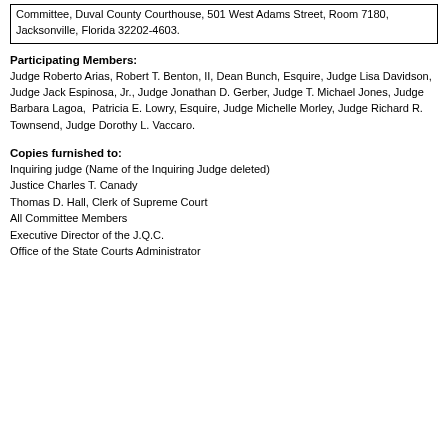Committee, Duval County Courthouse, 501 West Adams Street, Room 7180, Jacksonville, Florida 32202-4603.
Participating Members:
Judge Roberto Arias, Robert T. Benton, II, Dean Bunch, Esquire, Judge Lisa Davidson, Judge Jack Espinosa, Jr., Judge Jonathan D. Gerber, Judge T. Michael Jones, Judge Barbara Lagoa, Patricia E. Lowry, Esquire, Judge Michelle Morley, Judge Richard R. Townsend, Judge Dorothy L. Vaccaro.
Copies furnished to:
Inquiring judge (Name of the Inquiring Judge deleted)
Justice Charles T. Canady
Thomas D. Hall, Clerk of Supreme Court
All Committee Members
Executive Director of the J.Q.C.
Office of the State Courts Administrator